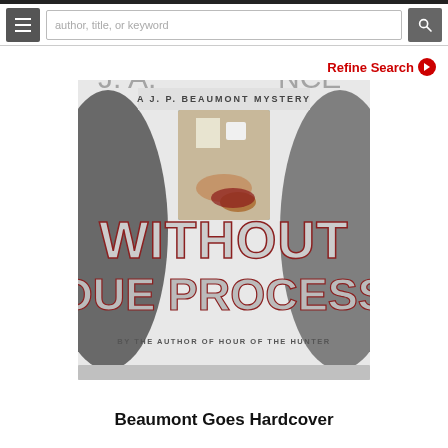[Figure (screenshot): Website navigation bar with hamburger menu button, search box reading 'author, title, or keyword', and a search (magnifying glass) button]
Refine Search ❯
[Figure (photo): Book cover of 'Without Due Process' by J.A. Jance, a J.P. Beaumont Mystery, with tagline 'By the Author of Hour of the Hunter'. Features large stylized silver and red lettering on a white cover with a crime scene inset image.]
Beaumont Goes Hardcover